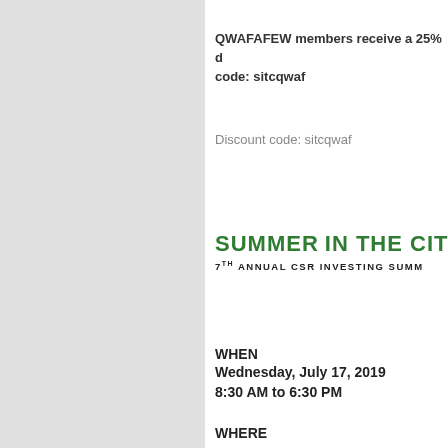QWAFAFEW members receive a 25% d… code: sitcqwaf
Discount code: sitcqwaf
[Figure (logo): Summer in the City logo with sun emoji, subtitle: 7TH ANNUAL CSR INVESTING SUMM]
WHEN
Wednesday, July 17, 2019
8:30 AM to 6:30 PM
WHERE